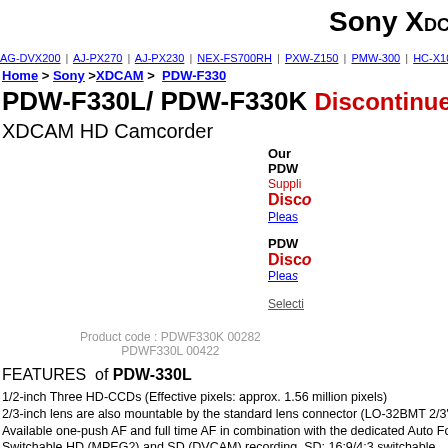Sony XDCAM
AG-DVX200 | AJ-PX270 | AJ-PX230 | NEX-FS700RH | PXW-Z150 | PMW-300 | HC-X1000 | PXW-X1
Home > Sony > XDCAM > PDW-F330
PDW-F330L/ PDW-F330K Discontinued
XDCAM HD Camcorder
Our
PDW
Suppli
Disco
Pleas
PDW
Disco
Pleas
Selecti
Product code : PDWF330K  00282
PDWF330L  00422
FEATURES  of PDW-330L
1/2-inch Three HD-CCDs (Effective pixels: approx. 1.56 million pixels)
2/3-inch lens are also mountable by the standard lens connector (LO-32BMT 2/3" to 1/2" lens mount a
Available one-push AF and full time AF in combination with the dedicated Auto Focus lens
Switchable HD (MPEG2) and SD (DVCAM) recording, SD: 16:9/4:3 switchable